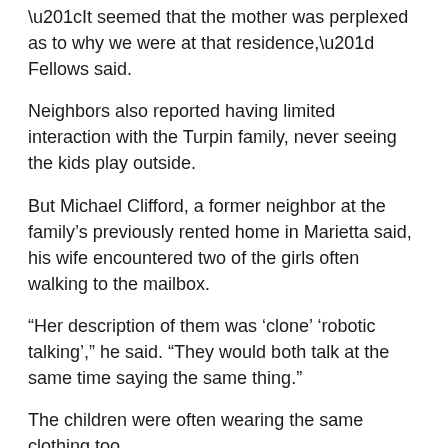“It seemed that the mother was perplexed as to why we were at that residence,” Fellows said.
Neighbors also reported having limited interaction with the Turpin family, never seeing the kids play outside.
But Michael Clifford, a former neighbor at the family’s previously rented home in Marietta said, his wife encountered two of the girls often walking to the mailbox.
“Her description of them was ‘clone’ ‘robotic talking’,” he said. “They would both talk at the same time saying the same thing.”
The children were often wearing the same clothing too.